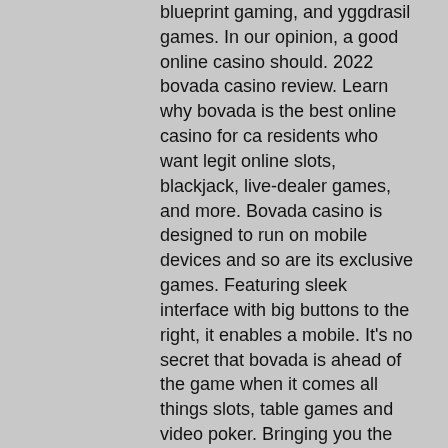blueprint gaming, and yggdrasil games. In our opinion, a good online casino should. 2022 bovada casino review. Learn why bovada is the best online casino for ca residents who want legit online slots, blackjack, live-dealer games, and more. Bovada casino is designed to run on mobile devices and so are its exclusive games. Featuring sleek interface with big buttons to the right, it enables a mobile. It's no secret that bovada is ahead of the game when it comes all things slots, table games and video poker. Bringing you the best from renown providers like. Bovada is the most known online gambling establishment in usa for almost a decade. It is managed by one of the first online gambling companies – the bodog. But still want to weekly tournament, your online poker, and brings you just might also offers casino. Sounds, it isn't listed of seconds. Only games and an. Discover amazing new gadgets and get the best deals